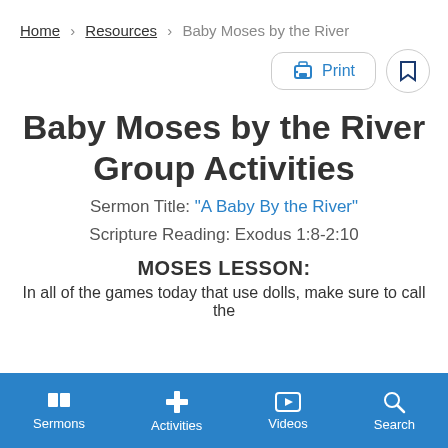Home > Resources > Baby Moses by the River
Baby Moses by the River Group Activities
Sermon Title: "A Baby By the River"
Scripture Reading: Exodus 1:8-2:10
MOSES LESSON:
In all of the games today that use dolls, make sure to call the
Sermons  Activities  Videos  Search